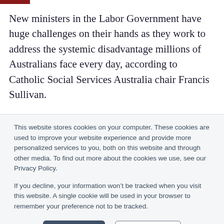New ministers in the Labor Government have huge challenges on their hands as they work to address the systemic disadvantage millions of Australians face every day, according to Catholic Social Services Australia chair Francis Sullivan.
“We warmly welcome the new ministers, particularly Linda Burney (Indigenous
This website stores cookies on your computer. These cookies are used to improve your website experience and provide more personalized services to you, both on this website and through other media. To find out more about the cookies we use, see our Privacy Policy.

If you decline, your information won’t be tracked when you visit this website. A single cookie will be used in your browser to remember your preference not to be tracked.